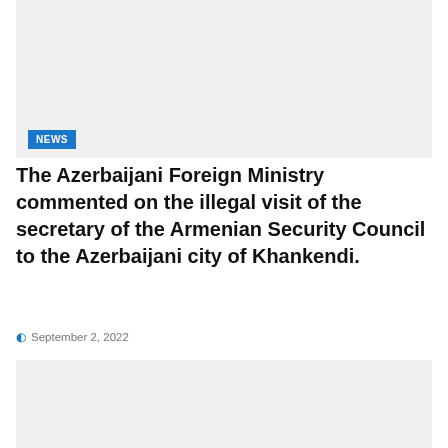[Figure (photo): Gray placeholder image area at top of article page]
NEWS
The Azerbaijani Foreign Ministry commented on the illegal visit of the secretary of the Armenian Security Council to the Azerbaijani city of Khankendi.
September 2, 2022
[Figure (photo): Gray placeholder image area at bottom of article page]